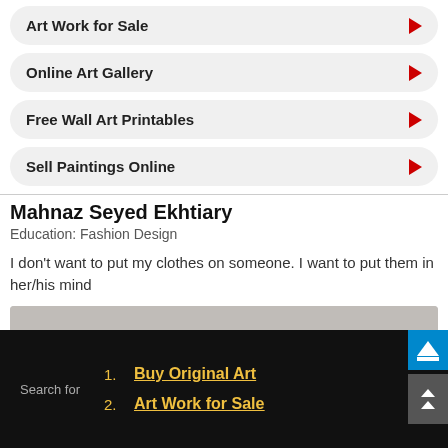Art Work for Sale
Online Art Gallery
Free Wall Art Printables
Sell Paintings Online
Mahnaz Seyed Ekhtiary
Education: Fashion Design
I don’t want to put my clothes on someone. I want to put them in her/his mind
[Figure (photo): Portrait photo of Mahnaz Seyed Ekhtiary, showing top of head]
Search for
1. Buy Original Art
2. Art Work for Sale